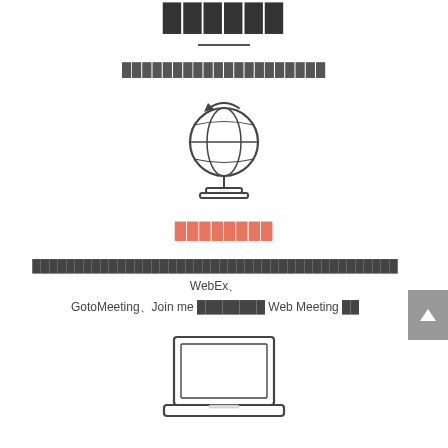██████
████████████████████
[Figure (illustration): Globe icon - outlined globe on a stand with a curved arrow at top]
████████
███████████████████████████████████████████ WebEx、GotoMeeting、Join me ████████ Web Meeting ██
[Figure (illustration): Laptop computer icon - outlined laptop with screen and keyboard base]